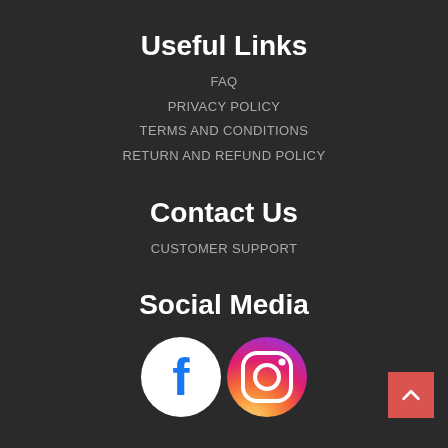Useful Links
FAQ
PRIVACY POLICY
TERMS AND CONDITIONS
RETURN AND REFUND POLICY
Contact Us
CUSTOMER SUPPORT
Social Media
[Figure (logo): Facebook and Instagram social media icons]